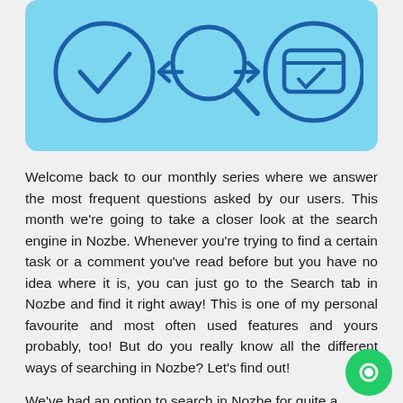[Figure (illustration): Light blue rounded rectangle containing three circular icons connected by arrows: a checkmark circle on the left, a magnifying glass in the center (with arrows pointing left and right to the other icons), and a wallet/card with checkmark on the right.]
Welcome back to our monthly series where we answer the most frequent questions asked by our users. This month we're going to take a closer look at the search engine in Nozbe. Whenever you're trying to find a certain task or a comment you've read before but you have no idea where it is, you can just go to the Search tab in Nozbe and find it right away! This is one of my personal favourite and most often used features and yours probably, too! But do you really know all the different ways of searching in Nozbe? Let's find out!
We've had an option to search in Nozbe for quite a time but to answer their enquiries, looking at…